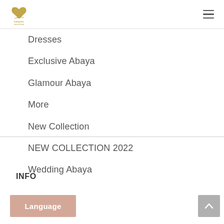[Figure (logo): Balqees brand logo with Arabic text and heart icon in gold/brown tones]
Dresses
Exclusive Abaya
Glamour Abaya
More
New Collection
NEW COLLECTION 2022
Wedding Abaya
INFO
Language